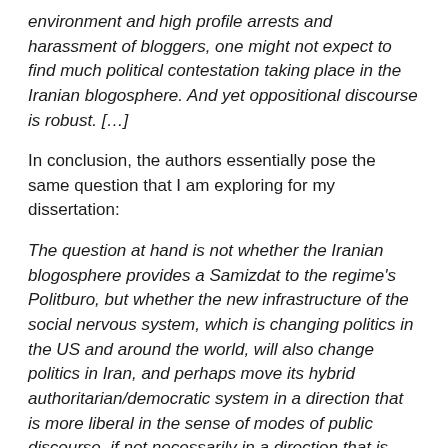environment and high profile arrests and harassment of bloggers, one might not expect to find much political contestation taking place in the Iranian blogosphere. And yet oppositional discourse is robust. […]
In conclusion, the authors essentially pose the same question that I am exploring for my dissertation:
The question at hand is not whether the Iranian blogosphere provides a Samizdat to the regime's Politburo, but whether the new infrastructure of the social nervous system, which is changing politics in the US and around the world, will also change politics in Iran, and perhaps move its hybrid authoritarian/democratic system in a direction that is more liberal in the sense of modes of public discourse, if not necessarily in a direction that is more liberal in the sense of political ideology.